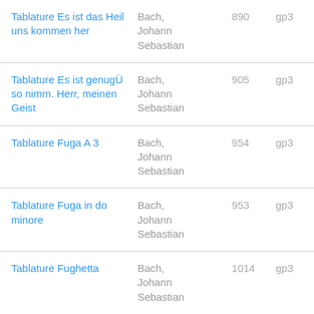| Title | Composer | ID | Format |
| --- | --- | --- | --- |
| Tablature Es ist das Heil uns kommen her | Bach, Johann Sebastian | 890 | gp3 |
| Tablature Es ist genugÜ so nimm. Herr, meinen Geist | Bach, Johann Sebastian | 905 | gp3 |
| Tablature Fuga A 3 | Bach, Johann Sebastian | 954 | gp3 |
| Tablature Fuga in do minore | Bach, Johann Sebastian | 953 | gp3 |
| Tablature Fughetta | Bach, Johann Sebastian | 1014 | gp3 |